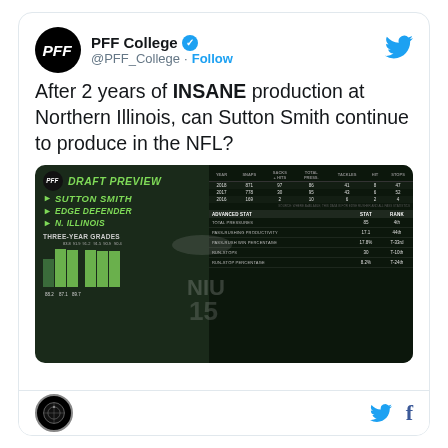[Figure (screenshot): Twitter/X profile header for PFF College (@PFF_College) with verified badge, Follow button, and Twitter bird icon]
After 2 years of INSANE production at Northern Illinois, can Sutton Smith continue to produce in the NFL?
[Figure (infographic): PFF Draft Preview infographic for Sutton Smith, Edge Defender, N. Illinois. Shows three-year grades bar chart (88.2, 87.1, 89.7 and top bars 83.8, 91.9, 91.2, 91.5, 90.9, 90.4). Year stats table: 2018 871 snaps 97 sacks+hits 86 total pressures 41 tackles 8 HIT 47 stops; 2017 778 30 95 43 6 52; 2016 169 2 10 6 2 4. Advanced stats: Total Pressures 85 4th; Pass-Rushing Productivity 17.1 44th; Pass-Rush Win Percentage 17.8% T-33rd; Run-Stops 30 T-10th; Run-Stop Percentage 8.2% T-24th.]
[Figure (logo): Small circular logo in footer (black circle with star/globe design)]
Twitter and Facebook share icons in footer